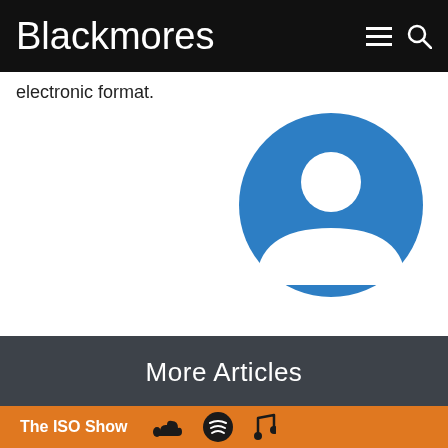Blackmores
electronic format.
[Figure (illustration): Blue circle avatar/user profile icon with white silhouette of a person]
More Articles
[Figure (photo): Partial thumbnail strip of article images]
The ISO Show